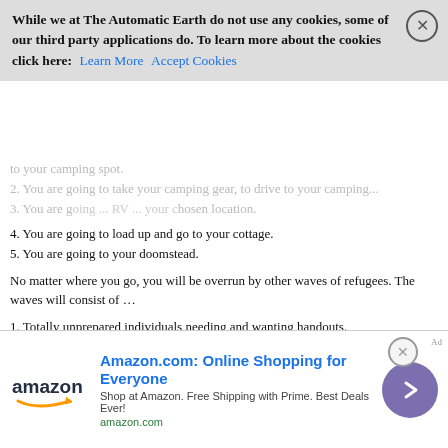to your camping spot.
While we at The Automatic Earth do not use any cookies, some of our third party applications do. To learn more about the cookies click here: Learn More  Accept Cookies
2. You are going to take your camping gear, to drive to your camping...
3. You are going ... RV ... chosen location.
4. You are going to load up and go to your cottage.
5. You are going to your doomstead.
No matter where you go, you will be overrun by other waves of refugees. The waves will consist of …
1. Totally unprepared individuals needing and wanting handouts.
2. Organized groups/gangs determined and prepared to extort and take whatever they want and need from anyone in their path.
Until a strong group/gang/gov./military can impose their version of law and order, your best defense will be to become non threatening and invisible
or
to be part of an organized community that can deal with the various waves of refugees.
~~ Make your luck ~~
[Figure (infographic): Amazon.com advertisement banner with Amazon logo, title 'Amazon.com: Online Shopping for Everyone', subtitle 'Shop at Amazon. Free Shipping with Prime. Best Deals Ever!', URL amazon.com, and a purple go button with right arrow.]